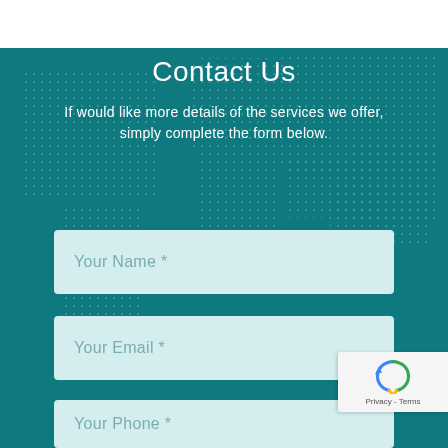Contact Us
If would like more details of the services we offer, simply complete the form below.
Your Name *
Your Email *
Your Phone *